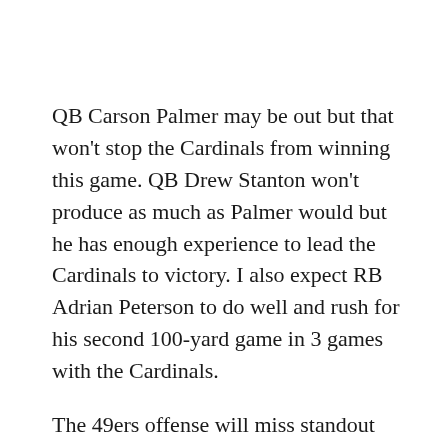QB Carson Palmer may be out but that won't stop the Cardinals from winning this game.  QB Drew Stanton won't produce as much as Palmer would but he has enough experience to lead the Cardinals to victory.   I also expect RB Adrian Peterson to do well and rush for his second 100-yard game in 3 games with the Cardinals.
The 49ers offense will miss standout WR Pierre Garcon.  Even if new QB Jimmy Garoppolo sees the field, he will have limited weapons to help him through the air.  They need to rebuild and